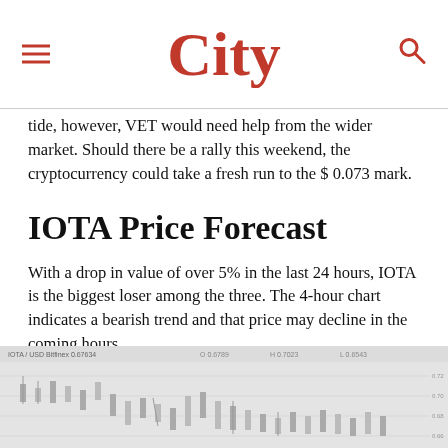City
tide, however, VET would need help from the wider market. Should there be a rally this weekend, the cryptocurrency could take a fresh run to the $ 0.073 mark.
IOTA Price Forecast
With a drop in value of over 5% in the last 24 hours, IOTA is the biggest loser among the three. The 4-hour chart indicates a bearish trend and that price may decline in the coming hours.
[Figure (screenshot): IOTA/USD Bitfinex 4-hour candlestick chart showing bearish price trend, with candlestick data and price levels visible on a light grey background.]